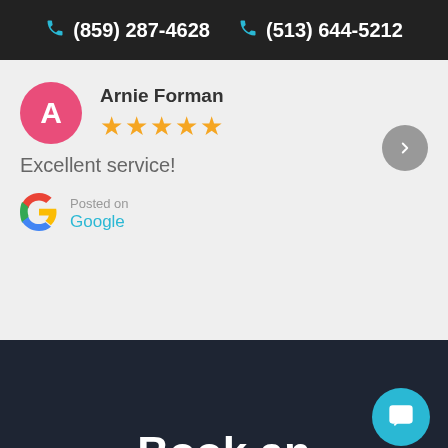(859) 287-4628  (513) 644-5212
Arnie Forman
★★★★★
Excellent service!
[Figure (logo): Google 'G' logo with colorful segments (red, yellow, green, blue)]
Posted on
Google
Book an